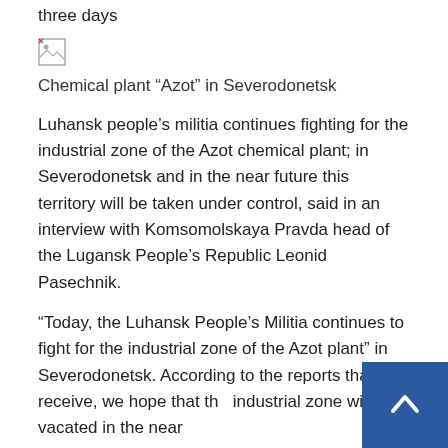three days
[Figure (photo): Broken/missing image placeholder icon]
Chemical plant “Azot” in Severodonetsk
Luhansk people’s militia continues fighting for the industrial zone of the Azot chemical plant; in Severodonetsk and in the near future this territory will be taken under control, said in an interview with Komsomolskaya Pravda head of the Lugansk People’s Republic Leonid Pasechnik.
“Today, the Luhansk People’s Militia continues to fight for the industrial zone of the Azot plant” in Severodonetsk. According to the reports that I receive, we hope that the industrial zone will be vacated in the near